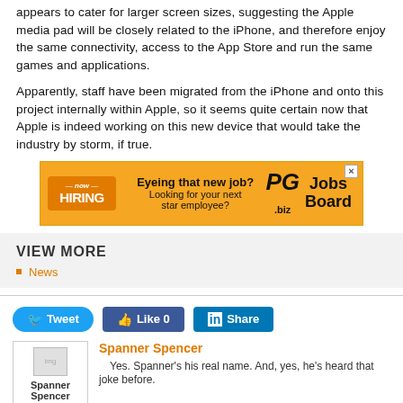appears to cater for larger screen sizes, suggesting the Apple media pad will be closely related to the iPhone, and therefore enjoy the same connectivity, access to the App Store and run the same games and applications.
Apparently, staff have been migrated from the iPhone and onto this project internally within Apple, so it seems quite certain now that Apple is indeed working on this new device that would take the industry by storm, if true.
[Figure (other): Advertisement banner: PG.biz Jobs Board - Eyeing that new job? Looking for your next star employee?]
VIEW MORE
News
Tweet  Like 0  Share
Spanner Spencer
Yes. Spanner's his real name. And, yes, he's heard that joke before.
[Figure (other): Advertisement banner: HEAR DIRECT FROM LEADING EXPERTS FOR FREE EACH WEEK. SIGN HERE - PG.biz Round Table]
[Figure (other): Advertisement banner partial: Choosing the Right Online]